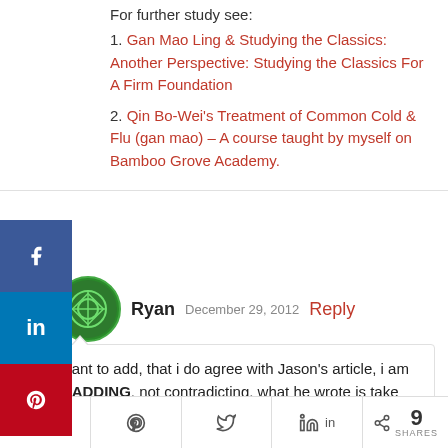For further study see:
1. Gan Mao Ling & Studying the Classics: Another Perspective: Studying the Classics For A Firm Foundation
2. Qin Bo-Wei's Treatment of Common Cold & Flu (gan mao) – A course taught by myself on Bamboo Grove Academy.
Ryan  December 29, 2012  Reply
I just want to add, that i do agree with Jason's article, i am simply ADDING, not contradicting, what he wrote is take TCM pattern differentiation as primary, but if that
9  [share buttons]  9 SHARES